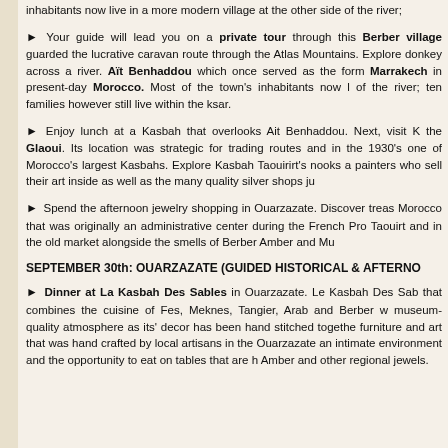inhabitants now live in a more modern village at the other side of the river;
► Your guide will lead you on a private tour through this Berber village guarded the lucrative caravan route through the Atlas Mountains. Explore donkey across a river. Aït Benhaddou which once served as the former Marrakech in present-day Morocco. Most of the town's inhabitants now live of the river; ten families however still live within the ksar.
► Enjoy lunch at a Kasbah that overlooks Ait Benhaddou. Next, visit the Glaoui. Its location was strategic for trading routes and in the 1930's one of Morocco's largest Kasbahs. Explore Kasbah Taouirirt's nooks and painters who sell their art inside as well as the many quality silver shops just
► Spend the afternoon jewelry shopping in Ouarzazate. Discover treasures Morocco that was originally an administrative center during the French Protectorate Taouirt and in the old market alongside the smells of Berber Amber and Musk
SEPTEMBER 30th: OUARZAZATE (GUIDED HISTORICAL & AFTERNOON
► Dinner at La Kasbah Des Sables in Ouarzazate. Le Kasbah Des Sables that combines the cuisine of Fes, Meknes, Tangier, Arab and Berber with museum- quality atmosphere as its' decor has been hand stitched together furniture and art that was hand crafted by local artisans in the Ouarzazate an intimate environment and the opportunity to eat on tables that are hand Amber and other regional jewels.